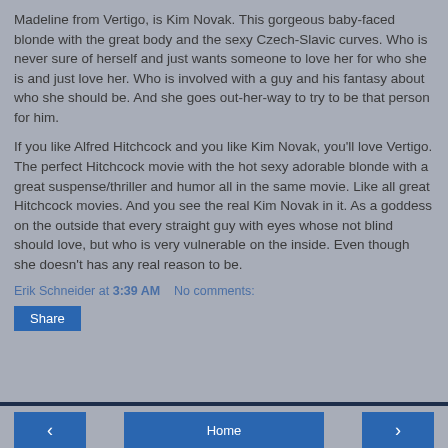Madeline from Vertigo, is Kim Novak. This gorgeous baby-faced blonde with the great body and the sexy Czech-Slavic curves. Who is never sure of herself and just wants someone to love her for who she is and just love her. Who is involved with a guy and his fantasy about who she should be. And she goes out-her-way to try to be that person for him.
If you like Alfred Hitchcock and you like Kim Novak, you'll love Vertigo. The perfect Hitchcock movie with the hot sexy adorable blonde with a great suspense/thriller and humor all in the same movie. Like all great Hitchcock movies. And you see the real Kim Novak in it. As a goddess on the outside that every straight guy with eyes whose not blind should love, but who is very vulnerable on the inside. Even though she doesn't has any real reason to be.
Erik Schneider at 3:39 AM   No comments:
Share
Home